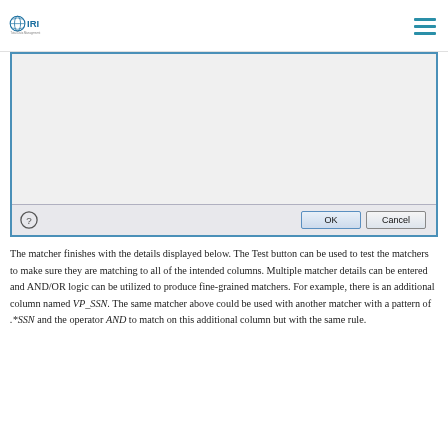IRI Total Data Management
[Figure (screenshot): A dialog box with a light gray empty area and a bottom bar containing a help icon, OK button, and Cancel button.]
The matcher finishes with the details displayed below. The Test button can be used to test the matchers to make sure they are matching to all of the intended columns. Multiple matcher details can be entered and AND/OR logic can be utilized to produce fine-grained matchers. For example, there is an additional column named VP_SSN. The same matcher above could be used with another matcher with a pattern of .*SSN and the operator AND to match on this additional column but with the same rule.